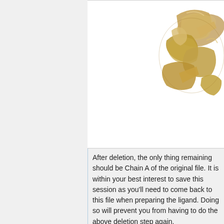[Figure (photo): Partially cropped 3D protein structure rendered in gold/tan colors showing ribbon/coil secondary structure elements, visible in the upper-right corner of a white bordered box.]
After deletion, the only thing remaining should be Chain A of the original file. It is within your best interest to save this session as you'll need to come back to this file when preparing the ligand. Doing so will prevent you from having to do the above deletion step again.